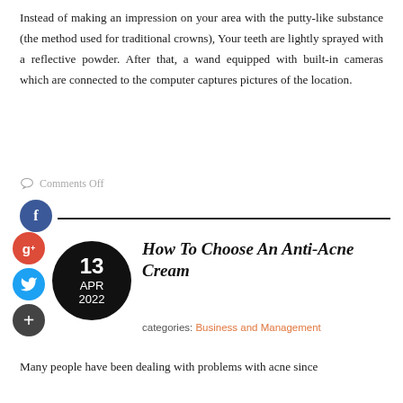Instead of making an impression on your area with the putty-like substance (the method used for traditional crowns), Your teeth are lightly sprayed with a reflective powder. After that, a wand equipped with built-in cameras which are connected to the computer captures pictures of the location.
Comments Off
[Figure (infographic): Social media sharing icons: Facebook (blue circle with f), Google+ (red circle with g+), Twitter (blue circle with bird), Plus (dark circle with +), and a date badge (black circle with 13 APR 2022)]
How To Choose An Anti-Acne Cream
categories: Business and Management
Many people have been dealing with problems with acne since